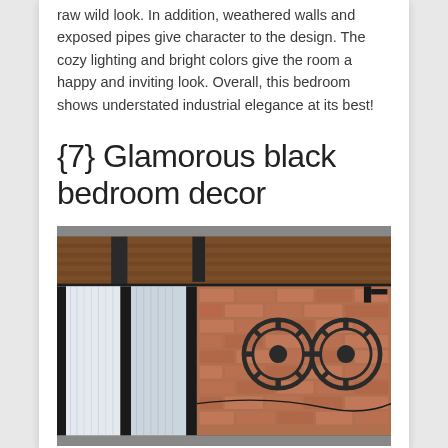raw wild look. In addition, weathered walls and exposed pipes give character to the design. The cozy lighting and bright colors give the room a happy and inviting look. Overall, this bedroom shows understated industrial elegance at its best!
{7} Glamorous black bedroom decor
[Figure (photo): Interior photo of a room with exposed brick wall, dark metal beams on the ceiling, large windows with sheer white curtains, and decorative metal gear/wheel artwork mounted on the brick wall.]